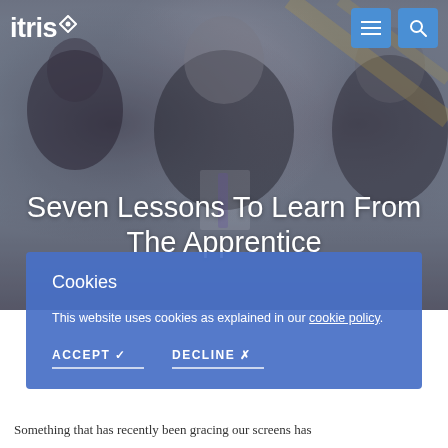[Figure (screenshot): Hero banner with three people in business attire (The Apprentice cast) as background photo, overlaid with site navigation and page title.]
itris
Seven Lessons To Learn From The Apprentice
Cookies
This website uses cookies as explained in our cookie policy.
ACCEPT ✓
DECLINE ✗
Something that has recently been gracing our screens has